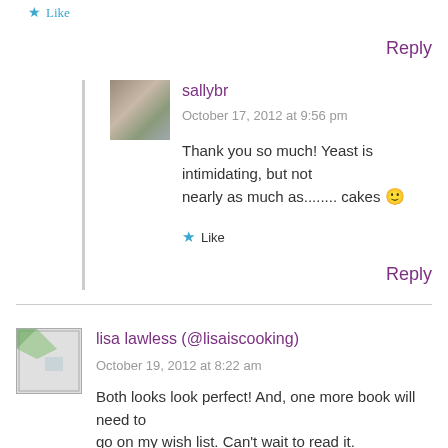Like
Reply
sallybr
October 17, 2012 at 9:56 pm
Thank you so much! Yeast is intimidating, but not nearly as much as........ cakes 🙂
Like
Reply
lisa lawless (@lisaiscooking)
October 19, 2012 at 8:22 am
Both looks look perfect! And, one more book will need to go on my wish list. Can't wait to read it.